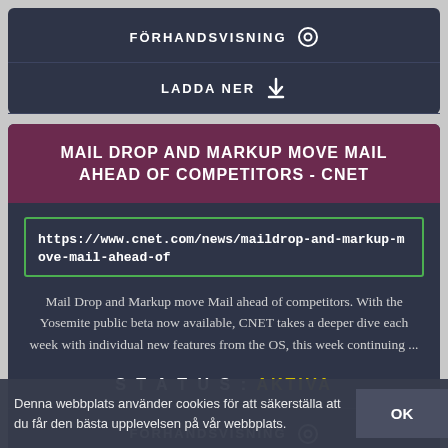FÖRHANDSVISNING
LADDA NER
MAIL DROP AND MARKUP MOVE MAIL AHEAD OF COMPETITORS - CNET
https://www.cnet.com/news/maildrop-and-markup-move-mail-ahead-of
Mail Drop and Markup move Mail ahead of competitors. With the Yosemite public beta now available, CNET takes a deeper dive each week with individual new features from the OS, this week continuing ...
STATUS: AKTIVA
FÖRHANDSVISNING
LADDA NER
Denna webbplats använder cookies för att säkerställa att du får den bästa upplevelsen på vår webbplats.
OK